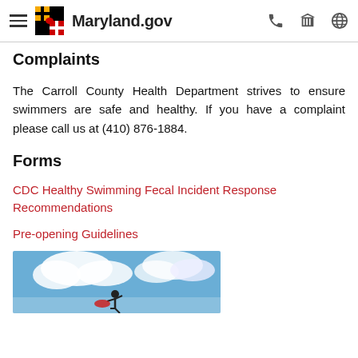Maryland.gov
Complaints
The Carroll County Health Department strives to ensure swimmers are safe and healthy. If you have a complaint please call us at (410) 876-1884.
Forms
CDC Healthy Swimming Fecal Incident Response Recommendations
Pre-opening Guidelines
[Figure (photo): A person standing outdoors against a blue sky with clouds]